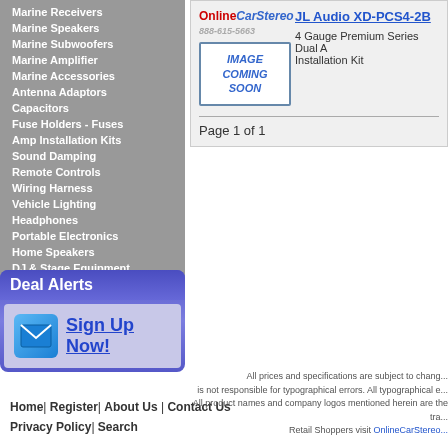Marine Receivers
Marine Speakers
Marine Subwoofers
Marine Amplifier
Marine Accessories
Antenna Adaptors
Capacitors
Fuse Holders - Fuses
Amp Installation Kits
Sound Damping
Remote Controls
Wiring Harness
Vehicle Lighting
Headphones
Portable Electronics
Home Speakers
DJ & Stage Equipment
Deal Alerts
Sign Up Now!
[Figure (logo): OnlineCarStereo logo with phone number 888-615-5663]
[Figure (illustration): Image Coming Soon placeholder]
JL Audio XD-PCS4-2B
4 Gauge Premium Series Dual Amp Installation Kit
Page 1 of 1
Home| Register| About Us | Contact Us
Privacy Policy| Search
All prices and specifications are subject to change. is not responsible for typographical errors. All typographical e... All product names and company logos mentioned herein are the tra... Retail Shoppers visit OnlineCarStereo...